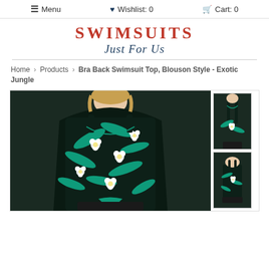≡ Menu   ♥ Wishlist: 0   🛒 Cart: 0
SWIMSUITS Just For Us
Home > Products > Bra Back Swimsuit Top, Blouson Style - Exotic Jungle
[Figure (photo): Main product photo: woman wearing a dark navy/black tropical floral tankini top with teal palm leaves and white flowers, with a side tie, paired with black bikini bottoms. Cropped at mid-torso, blonde hair.]
[Figure (photo): Thumbnail 1: back view of the same floral tankini top showing bra-back straps.]
[Figure (photo): Thumbnail 2: alternative angle of the floral tankini top.]